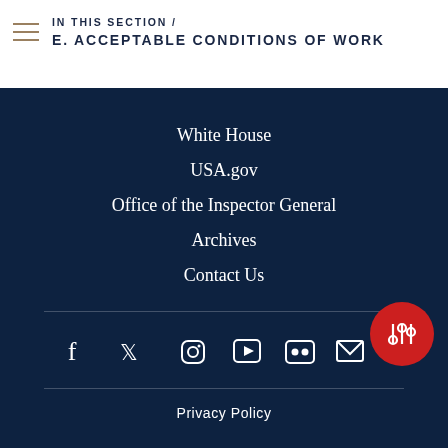IN THIS SECTION / E. ACCEPTABLE CONDITIONS OF WORK
White House
USA.gov
Office of the Inspector General
Archives
Contact Us
[Figure (infographic): Social media icons row: Facebook, Twitter, Instagram, YouTube, Flickr, Email. Red circular settings/filter button at bottom right.]
Privacy Policy